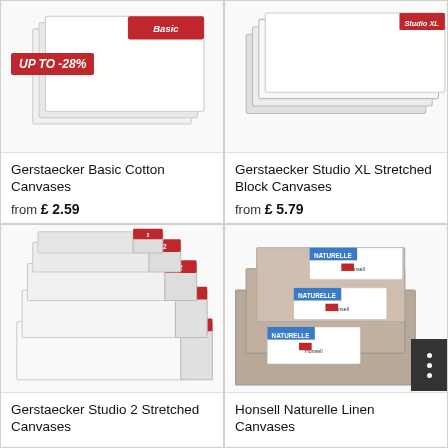[Figure (photo): Gerstaecker Basic Cotton Canvases product image with UP TO -28% badge]
UP TO -28%
Gerstaecker Basic Cotton Canvases
from £ 2.59
[Figure (photo): Gerstaecker Studio XL Stretched Block Canvases product image]
Gerstaecker Studio XL Stretched Block Canvases
from £ 5.79
[Figure (photo): Gerstaecker Studio 2 Stretched Canvases product image]
Gerstaecker Studio 2 Stretched Canvases
[Figure (photo): Honsell Naturelle Linen Canvases product image]
Honsell Naturelle Linen Canvases